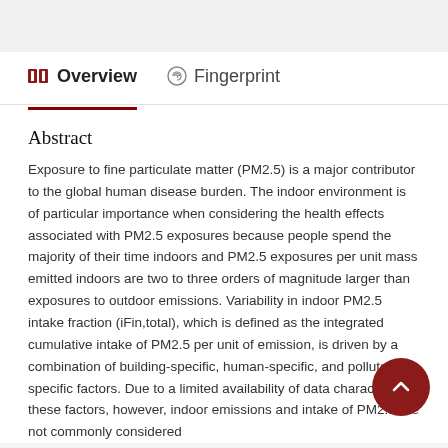Overview | Fingerprint
Abstract
Exposure to fine particulate matter (PM2.5) is a major contributor to the global human disease burden. The indoor environment is of particular importance when considering the health effects associated with PM2.5 exposures because people spend the majority of their time indoors and PM2.5 exposures per unit mass emitted indoors are two to three orders of magnitude larger than exposures to outdoor emissions. Variability in indoor PM2.5 intake fraction (iFin,total), which is defined as the integrated cumulative intake of PM2.5 per unit of emission, is driven by a combination of building-specific, human-specific, and pollutant-specific factors. Due to a limited availability of data characterizing these factors, however, indoor emissions and intake of PM2.5 are not commonly considered